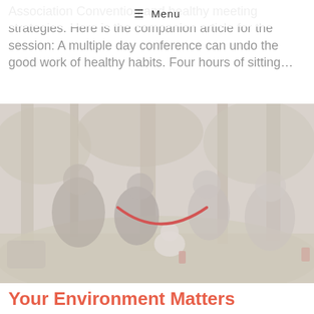Association Convention and healthy meeting strategies.  Here is the companion article for the session: A multiple day conference can undo the good work of healthy habits.  Four hours of sitting…
≡ Menu
[Figure (photo): Four people sitting on grass in a park having a picnic with a small white dog in the center; trees in background; faded/washed-out color treatment with a red curved line overlaid]
Your Environment Matters